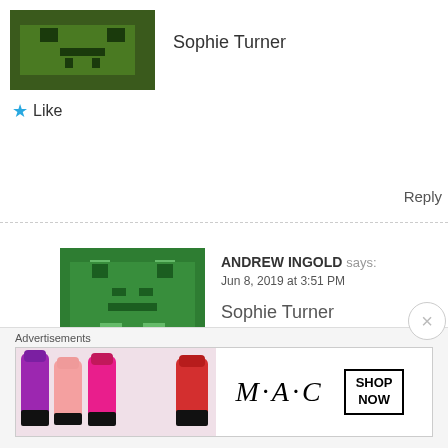[Figure (illustration): Green pixel art avatar for first commenter]
Sophie Turner
★ Like
Reply
[Figure (illustration): Green pixel art avatar for ANDREW INGOLD]
ANDREW INGOLD says:
Jun 8, 2019 at 3:51 PM

Sophie Turner
★ Like
Reply
[Figure (illustration): Dark green and yellow pixel art avatar for CARRIE H]
CARRIE H says:
Jun 8, 2019 at 3:57 PM

Sophie Turner
Advertisements
[Figure (photo): MAC Cosmetics advertisement showing lipsticks with SHOP NOW button]